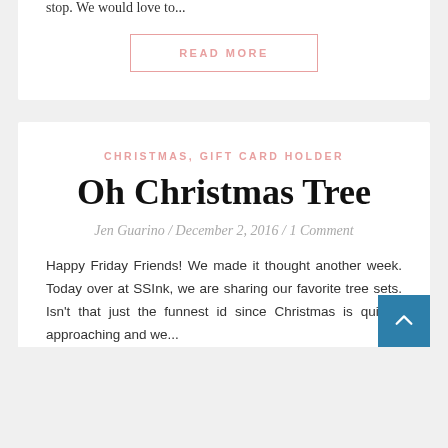stop. We would love to...
READ MORE
CHRISTMAS, GIFT CARD HOLDER
Oh Christmas Tree
Jen Guarino / December 2, 2016 / 1 Comment
Happy Friday Friends! We made it thought another week. Today over at SSInk, we are sharing our favorite tree sets. Isn't that just the funnest id since Christmas is quickly approaching and we...